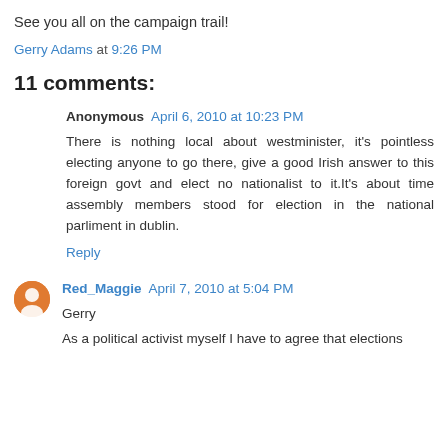See you all on the campaign trail!
Gerry Adams at 9:26 PM
11 comments:
Anonymous April 6, 2010 at 10:23 PM
There is nothing local about westminister, it's pointless electing anyone to go there, give a good Irish answer to this foreign govt and elect no nationalist to it.It's about time assembly members stood for election in the national parliment in dublin.
Reply
Red_Maggie April 7, 2010 at 5:04 PM
Gerry
As a political activist myself I have to agree that elections